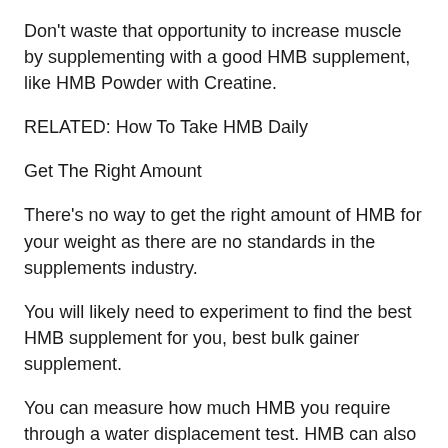Don't waste that opportunity to increase muscle by supplementing with a good HMB supplement, like HMB Powder with Creatine.
RELATED: How To Take HMB Daily
Get The Right Amount
There's no way to get the right amount of HMB for your weight as there are no standards in the supplements industry.
You will likely need to experiment to find the best HMB supplement for you, best bulk gainer supplement.
You can measure how much HMB you require through a water displacement test. HMB can also be measured in